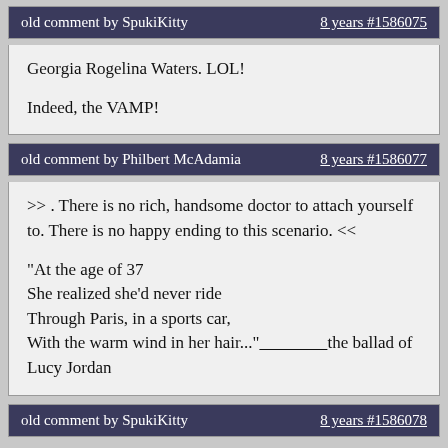old comment by SpukiKitty    8 years #1586075
Georgia Rogelina Waters. LOL!

Indeed, the VAMP!
old comment by Philbert McAdamia    8 years #1586077
>> . There is no rich, handsome doctor to attach yourself to. There is no happy ending to this scenario. <<

"At the age of 37
She realized she'd never ride
Through Paris, in a sports car,
With the warm wind in her hair..."________________the ballad of Lucy Jordan
old comment by SpukiKitty    8 years #1586078